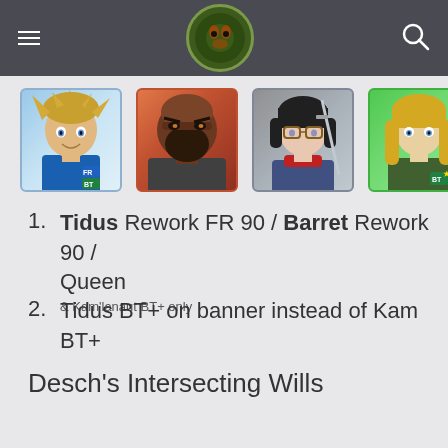Navigation bar with hamburger menu, logo, and search icon
[Figure (illustration): Four character portrait images: Tidus (FR/BT badges, blue background), Barret (red/orange background), Queen (grey background), Kam'lanaut (BT badge, green background)]
Tidus Rework FR 90 / Barret Rework 90 / Queen & Kam'lanaut BT+ only
Tidus BT+ on banner instead of Kam BT+
Desch's Intersecting Wills